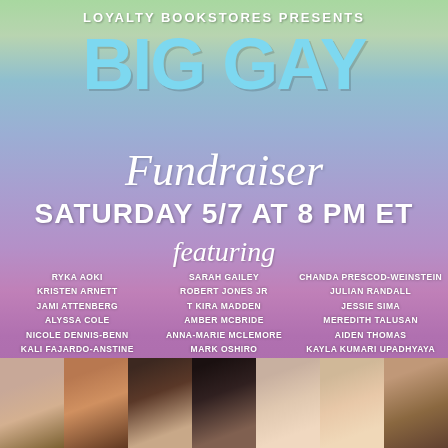LOYALTY BOOKSTORES PRESENTS
BIG GAY Fundraiser
SATURDAY 5/7 AT 8 PM ET
featuring
RYKA AOKI
KRISTEN ARNETT
JAMI ATTENBERG
ALYSSA COLE
NICOLE DENNIS-BENN
KALI FAJARDO-ANSTINE
SARAH GAILEY
ROBERT JONES JR
T KIRA MADDEN
AMBER MCBRIDE
ANNA-MARIE MCLEMORE
MARK OSHIRO
CHANDA PRESCOD-WEINSTEIN
JULIAN RANDALL
JESSIE SIMA
MEREDITH TALUSAN
AIDEN THOMAS
KAYLA KUMARI UPADHYAYA
[Figure (photo): Strip of seven headshot photos of featured authors at the bottom of the poster]